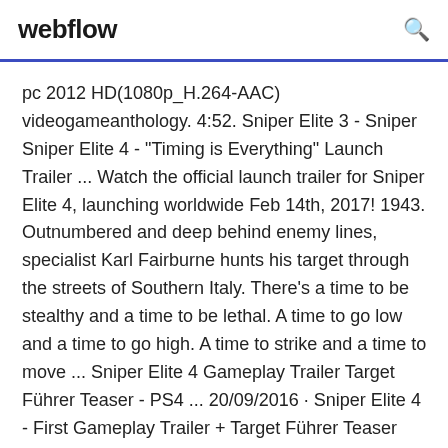webflow
pc 2012 HD(1080p_H.264-AAC) videogameanthology. 4:52. Sniper Elite 3 - Sniper Sniper Elite 4 - "Timing is Everything" Launch Trailer ... Watch the official launch trailer for Sniper Elite 4, launching worldwide Feb 14th, 2017! 1943. Outnumbered and deep behind enemy lines, specialist Karl Fairburne hunts his target through the streets of Southern Italy. There's a time to be stealthy and a time to be lethal. A time to go low and a time to go high. A time to strike and a time to move ... Sniper Elite 4 Gameplay Trailer Target Führer Teaser - PS4 ... 20/09/2016 · Sniper Elite 4 - First Gameplay Trailer + Target Führer Teaser (2017) XboxViewTV. 2:05. Sniper Elite 4 - First